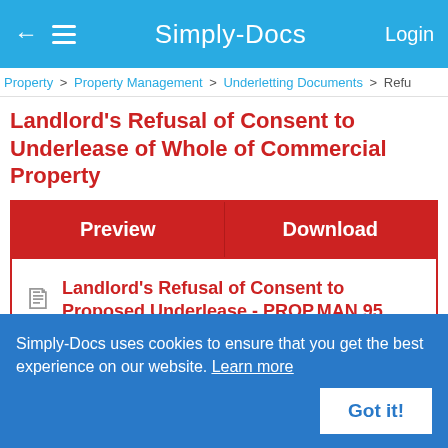Simply-Docs  Login
Property > Property Management > Underletting Documents > Refu
Landlord's Refusal of Consent to Underlease of Whole of Commercial Property
| Preview | Download |
| --- | --- |
| Landlord's Refusal of Consent to Proposed Underlease - PROP.MAN.95 |  |
Simply-Docs uses cookies to ensure that you get the best experience on our website. Learn more
Got it!